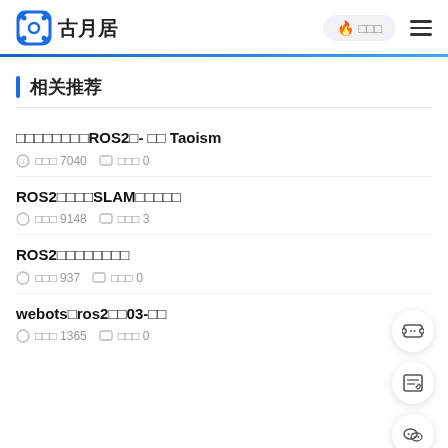古月居 | 热门 | 菜单
相关推荐
□□□□□□□□ROS2□- □□ Taoism
阅读 7040   评论 0
ROS2□□□□SLAM□□□□□
阅读 9148   评论 3
ROS2□□□□□□□□
阅读 937   评论 0
webots□ros2□□03-□□
阅读 1365   评论 0